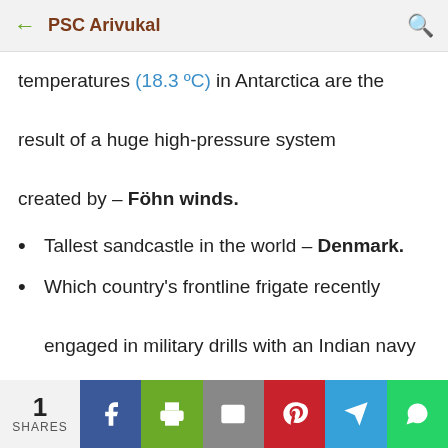PSC Arivukal
temperatures (18.3 ºC) in Antarctica are the result of a huge high-pressure system created by – Föhn winds.
Tallest sandcastle in the world – Denmark.
Which country's frontline frigate recently engaged in military drills with an Indian navy ship, and what is the name of the Indian naval ship? Italy &  INS Tabar.
1 SHARES | Facebook | Print | Email | Pinterest | Telegram | WhatsApp